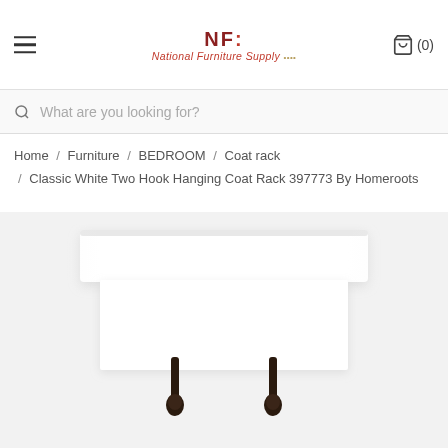National Furniture Supply — NF logo, hamburger menu, cart (0)
What are you looking for?
Home / Furniture / BEDROOM / Coat rack / Classic White Two Hook Hanging Coat Rack 397773 By Homeroots
[Figure (photo): Product photo of a Classic White Two Hook Hanging Coat Rack 397773 — a rectangular white wall-mounted shelf with two dark metal hooks hanging below it, photographed against a light background.]